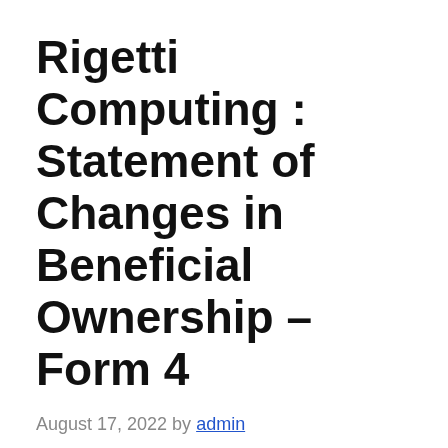Rigetti Computing : Statement of Changes in Beneficial Ownership – Form 4
August 17, 2022 by admin
Ownership Submission FORM 4 Check this box if no longer subject to Section 16, Form 4 or Form 5 obligations may continue. See Instruction 1(b). UNITED STATES SECURITIES AND EXCHANGE COMMISSIONWashington, DC 20549STATEMENT OF CHANGES IN BENEFICIAL OWNERSHIP OF SECURITIES Filed